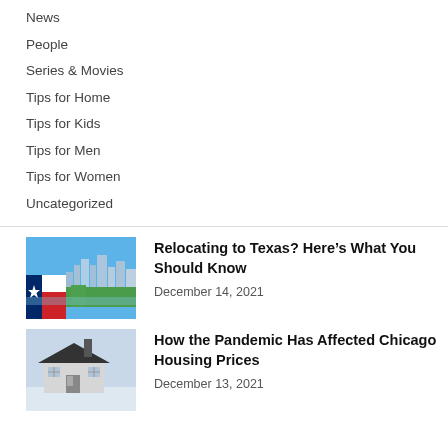News
People
Series & Movies
Tips for Home
Tips for Kids
Tips for Men
Tips for Women
Uncategorized
Relocating to Texas? Here’s What You Should Know
December 14, 2021
How the Pandemic Has Affected Chicago Housing Prices
December 13, 2021